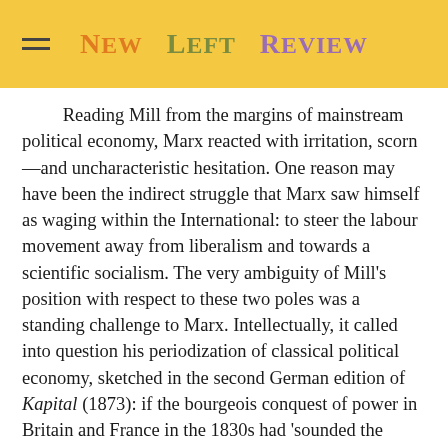New Left Review
Reading Mill from the margins of mainstream political economy, Marx reacted with irritation, scorn—and uncharacteristic hesitation. One reason may have been the indirect struggle that Marx saw himself as waging within the International: to steer the labour movement away from liberalism and towards a scientific socialism. The very ambiguity of Mill's position with respect to these two poles was a standing challenge to Marx. Intellectually, it called into question his periodization of classical political economy, sketched in the second German edition of Kapital (1873): if the bourgeois conquest of power in Britain and France in the 1830s had 'sounded the death knell of scientific bourgeois economics', what to make of Mill,